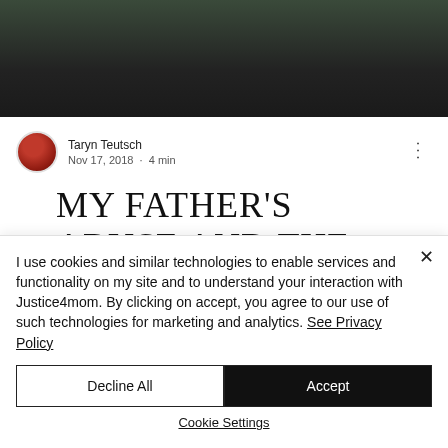[Figure (photo): Hero image showing people in dark setting, partially cropped at top]
Taryn Teutsch
Nov 17, 2018 · 4 min
MY FATHER'S ABUSE AND THE
I use cookies and similar technologies to enable services and functionality on my site and to understand your interaction with Justice4mom. By clicking on accept, you agree to our use of such technologies for marketing and analytics. See Privacy Policy
Decline All
Accept
Cookie Settings